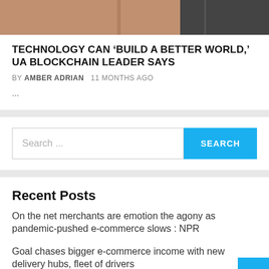[Figure (photo): Article header image showing a person, partially cropped]
TECHNOLOGY CAN ‘BUILD A BETTER WORLD,’ UA BLOCKCHAIN LEADER SAYS
BY AMBER ADRIAN   11 MONTHS AGO
...
Search ...
Recent Posts
On the net merchants are emotion the agony as pandemic-pushed e-commerce slows : NPR
Goal chases bigger e-commerce income with new delivery hubs, fleet of drivers